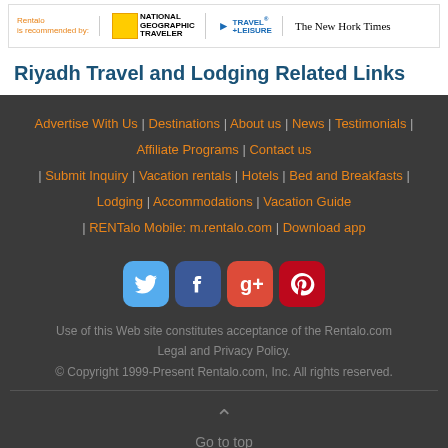[Figure (logo): Rentalo is recommended by: National Geographic Traveler, Travel+Leisure, The New York Times logos in a white banner]
Riyadh Travel and Lodging Related Links
Advertise With Us | Destinations | About us | News | Testimonials | Affiliate Programs | Contact us | Submit Inquiry | Vacation rentals | Hotels | Bed and Breakfasts | Lodging | Accommodations | Vacation Guide | RENTalo Mobile: m.rentalo.com | Download app
[Figure (logo): Social media icons: Twitter (blue), Facebook (dark blue), Google+ (red), Pinterest (dark red)]
Use of this Web site constitutes acceptance of the Rentalo.com Legal and Privacy Policy.
© Copyright 1999-Present Rentalo.com, Inc. All rights reserved.
Go to top